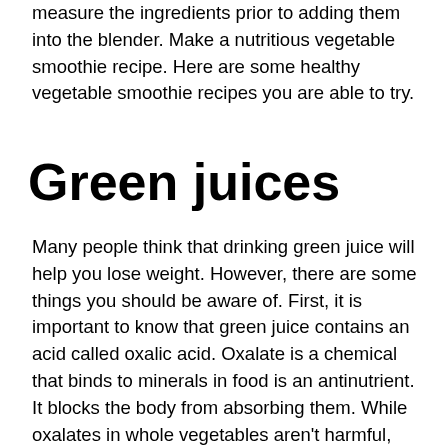measure the ingredients prior to adding them into the blender. Make a nutritious vegetable smoothie recipe. Here are some healthy vegetable smoothie recipes you are able to try.
Green juices
Many people think that drinking green juice will help you lose weight. However, there are some things you should be aware of. First, it is important to know that green juice contains an acid called oxalic acid. Oxalate is a chemical that binds to minerals in food is an antinutrient. It blocks the body from absorbing them. While oxalates in whole vegetables aren't harmful, green juice contains high levels, which can cause kidney